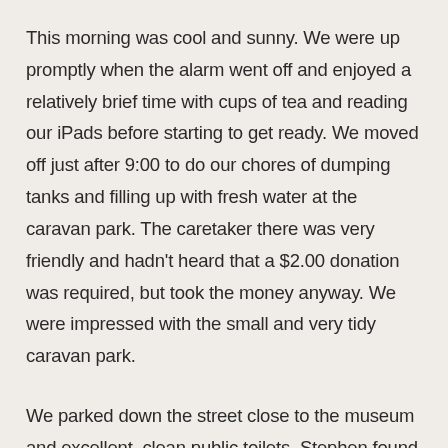This morning was cool and sunny. We were up promptly when the alarm went off and enjoyed a relatively brief time with cups of tea and reading our iPads before starting to get ready. We moved off just after 9:00 to do our chores of dumping tanks and filling up with fresh water at the caravan park. The caretaker there was very friendly and hadn't heard that a $2.00 donation was required, but took the money anyway. We were impressed with the small and very tidy caravan park.
We parked down the street close to the museum and excellent, clean public toilets. Stephen found a seat outside the tavern to wait for the museum to open and I went to a small cafe for an very nice coffee.